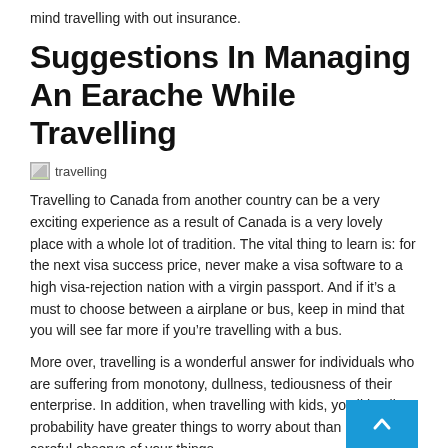mind travelling with out insurance.
Suggestions In Managing An Earache While Travelling
[Figure (photo): Broken image placeholder labeled 'travelling']
Travelling to Canada from another country can be a very exciting experience as a result of Canada is a very lovely place with a whole lot of tradition. The vital thing to learn is: for the next visa success price, never make a visa software to a high visa-rejection nation with a virgin passport. And if it’s a must to choose between a airplane or bus, keep in mind that you will see far more if you’re travelling with a bus.
More over, travelling is a wonderful answer for individuals who are suffering from monotony, dullness, tediousness of their enterprise. In addition, when travelling with kids, you’ll in all probability have greater things to worry about than keeping careful observe of your things.